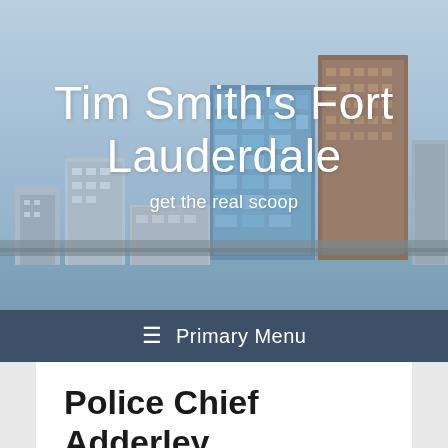[Figure (photo): Aerial/waterfront photo of Fort Lauderdale city skyline with tall buildings against a light blue sky]
Tim Smith's Fort Lauderdale
get the real scoop
☰  Primary Menu
Police Chief Adderley